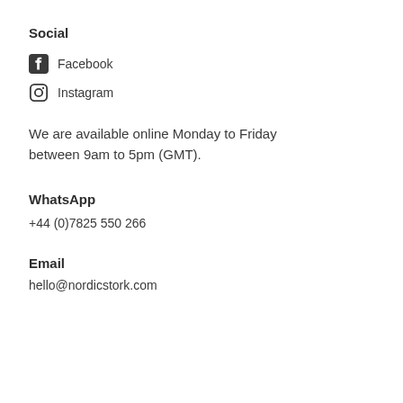Social
Facebook
Instagram
We are available online Monday to Friday between 9am to 5pm (GMT).
WhatsApp
+44 (0)7825 550 266
Email
hello@nordicstork.com